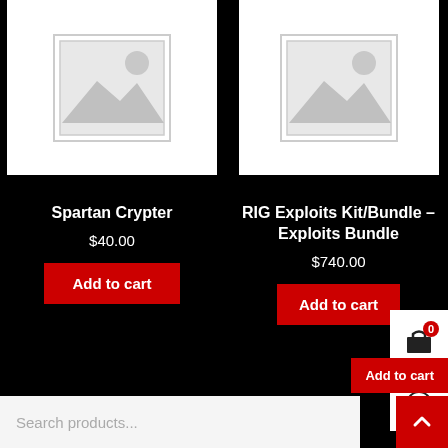[Figure (illustration): Placeholder product image for Spartan Crypter - gray image placeholder icon with mountain/landscape and circle]
Spartan Crypter
$40.00
Add to cart
[Figure (illustration): Placeholder product image for RIG Exploits Kit/Bundle - gray image placeholder icon with mountain/landscape and circle]
RIG Exploits Kit/Bundle – Exploits Bundle
$740.00
Add to cart
Add to cart
Search products...